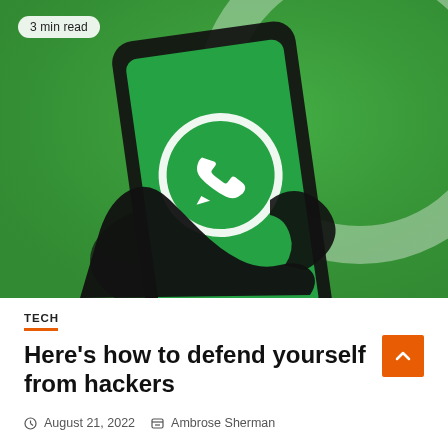[Figure (photo): A hand holding a smartphone displaying the WhatsApp logo (green background with white phone icon in speech bubble) against a blurred green background with a large WhatsApp icon. A '3 min read' badge is overlaid in the top-left corner.]
TECH
Here's how to defend yourself from hackers
August 21, 2022   Ambrose Sherman